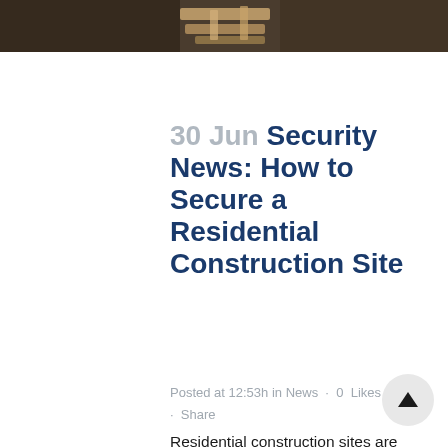[Figure (photo): Top strip showing a partial construction site photo with wood/lumber visible]
30 Jun Security News: How to Secure a Residential Construction Site
Posted at 12:53h in News · 0 Likes · Share
Residential construction sites are vulnerable to threats like burglary, vandalism, and false injury claims. Whether you're overseeing a small home